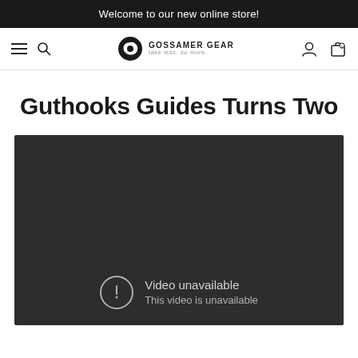Welcome to our new online store!
[Figure (logo): Gossamer Gear logo with navigation bar including hamburger menu, search icon, account icon, and cart icon]
Guthooks Guides Turns Two
[Figure (screenshot): Embedded video player showing 'Video unavailable - This video is unavailable' error message on dark background]